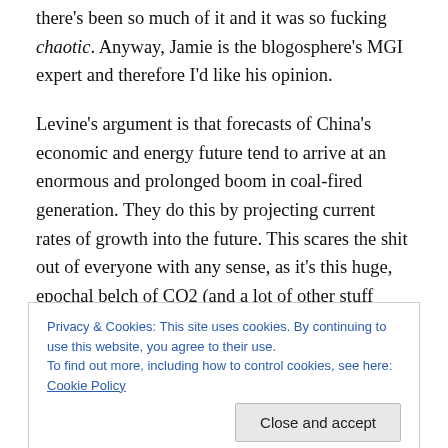there's been so much of it and it was so fucking chaotic. Anyway, Jamie is the blogosphere's MGI expert and therefore I'd like his opinion.
Levine's argument is that forecasts of China's economic and energy future tend to arrive at an enormous and prolonged boom in coal-fired generation. They do this by projecting current rates of growth into the future. This scares the shit out of everyone with any sense, as it's this huge, epochal belch of CO2 (and a lot of other stuff besides) that will eventually fuck us all up. Of course, if the
Privacy & Cookies: This site uses cookies. By continuing to use this website, you agree to their use.
To find out more, including how to control cookies, see here: Cookie Policy
that will intervene. Basically, he reckons, air pollution